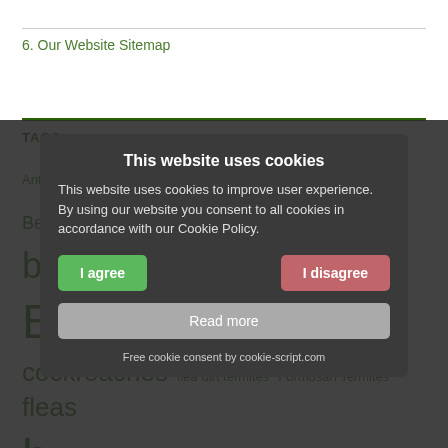6. Our Website Sitemap
TAGS
Ant Control Ants bed-bugs Bed Bug Bites Bed Bug Control bed bugs bedbugs Bees Biting Insects carpenter ants carpenter bees cockroaches flea dirt termites Formosan Termites fleas hornets house flies insect control insects mice mosquitoes NJ Ant Control NJ Pest Control NJ Rodent Control NJ Termite Control NJ Termites Odorous house Ant pest control problem insects rats Rodent Control rodents
This website uses cookies
This website uses cookies to improve user experience. By using our website you consent to all cookies in accordance with our Cookie Policy.
I agree | I disagree
Read more
Free cookie consent by cookie-script.com